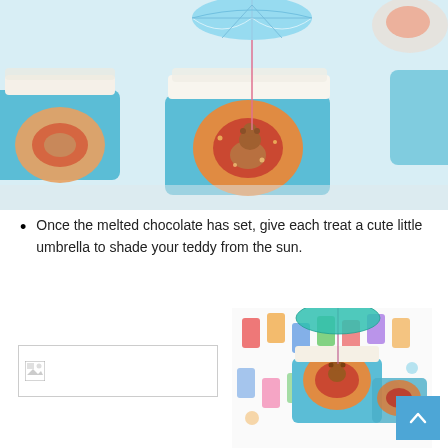[Figure (photo): Photo of blue chocolate-covered rice crispy treats with gummy ring floaties and teddy bear candies, with a small cocktail umbrella inserted into one treat. White popcorn or sprinkles on top. Light gray background.]
Once the melted chocolate has set, give each treat a cute little umbrella to shade your teddy from the sun.
[Figure (photo): Broken/missing image placeholder on the left side.]
[Figure (photo): Photo of a blue chocolate-covered rice crispy treat with a gummy ring floatie and teddy bear candy, with a small teal cocktail umbrella, displayed on a colorful popsicle-patterned plate/mat.]